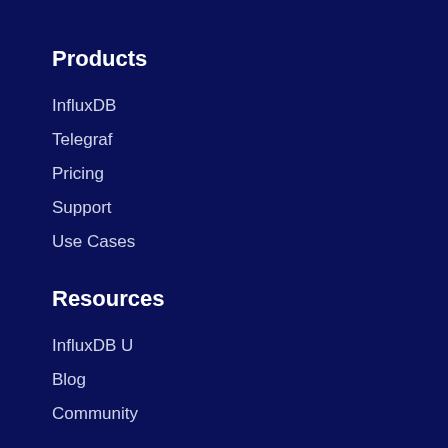Products
InfluxDB
Telegraf
Pricing
Support
Use Cases
Resources
InfluxDB U
Blog
Community
Customers
Swag
Events